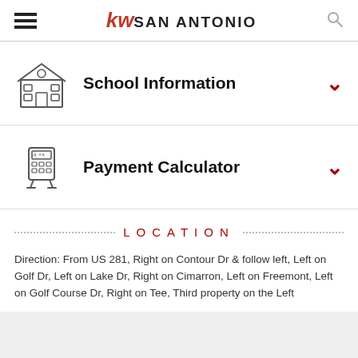kw SAN ANTONIO
School Information
Payment Calculator
LOCATION
Direction: From US 281, Right on Contour Dr & follow left, Left on Golf Dr, Left on Lake Dr, Right on Cimarron, Left on Freemont, Left on Golf Course Dr, Right on Tee, Third property on the Left